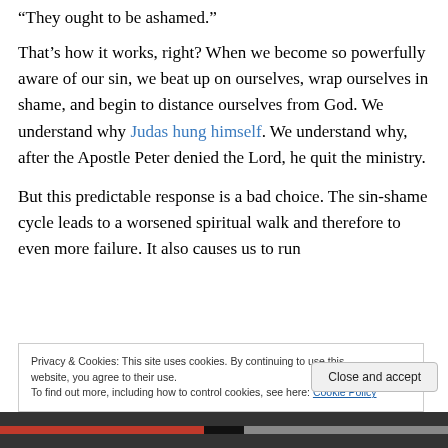“They ought to be ashamed.”
That’s how it works, right? When we become so powerfully aware of our sin, we beat up on ourselves, wrap ourselves in shame, and begin to distance ourselves from God. We understand why Judas hung himself. We understand why, after the Apostle Peter denied the Lord, he quit the ministry.
But this predictable response is a bad choice. The sin-shame cycle leads to a worsened spiritual walk and therefore to even more failure. It also causes us to run
Privacy & Cookies: This site uses cookies. By continuing to use this website, you agree to their use.
To find out more, including how to control cookies, see here: Cookie Policy
Close and accept